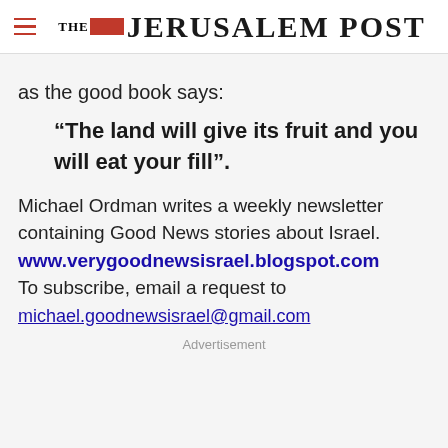THE JERUSALEM POST
as the good book says:
“The land will give its fruit and you will eat your fill”.
Michael Ordman writes a weekly newsletter containing Good News stories about Israel.
www.verygoodnewsisrael.blogspot.com
To subscribe, email a request to
michael.goodnewsisrael@gmail.com
Advertisement